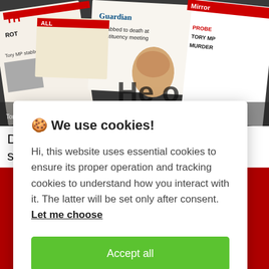[Figure (photo): A collage of British newspaper front pages showing headlines including 'Tory MP stabbed to death', 'terror probe', 'MP murdered', and related stories about a politician's death.]
Death of three Dutch commandos in shooting outside their hotel…
🍪 We use cookies!
Hi, this website uses essential cookies to ensure its proper operation and tracking cookies to understand how you interact with it. The latter will be set only after consent. Let me choose
Accept all
Reject all